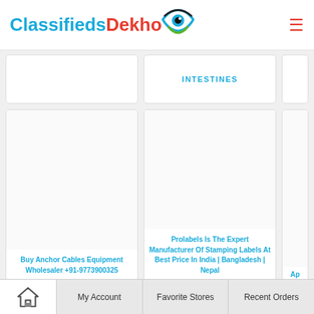ClassifiedsDekho
INTESTINES
Buy Anchor Cables Equipment Wholesaler +91-9773900325
Prolabels Is The Expert Manufacturer Of Stamping Labels At Best Price In India | Bangladesh | Nepal
Ap...
Home | My Account | Favorite Stores | Recent Orders